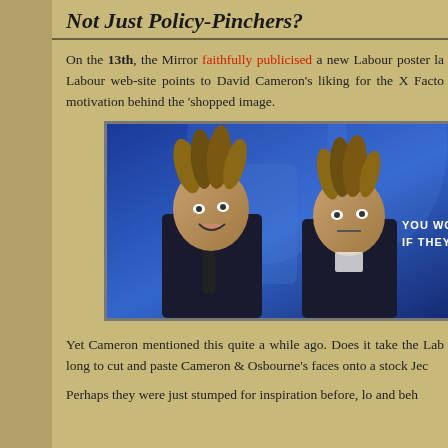Not Just Policy-Pinchers?
On the 13th, the Mirror faithfully publicised a new Labour poster la... Labour web-site points to David Cameron's liking for the X Facto... motivation behind the 'shopped image.
[Figure (photo): Photoshopped image showing two men on a blue-lit stage with text overlay reading 'YOU WON'T BE LA... IF THEY W...' — Labour political poster parody featuring David Cameron and George Osbourne's faces on Jedward-style figures]
Yet Cameron mentioned this quite a while ago. Does it take the Lab... long to cut and paste Cameron & Osbourne's faces onto a stock Jec...
Perhaps they were just stumped for inspiration before, lo and beh...